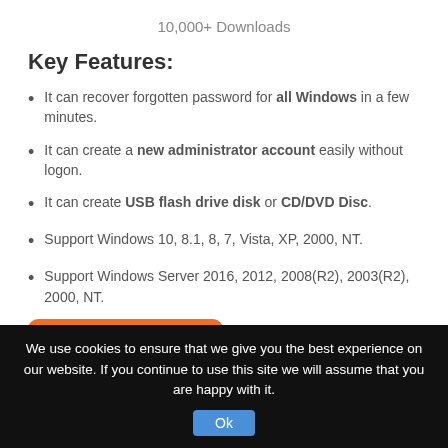10,000+ Downloads
Key Features:
It can recover forgotten password for all Windows in a few minutes.
It can create a new administrator account easily without logon.
It can create USB flash drive disk or CD/DVD Disc.
Support Windows 10, 8.1, 8, 7, Vista, XP, 2000, NT.
Support Windows Server 2016, 2012, 2008(R2), 2003(R2), 2000, NT.
[Figure (other): Orange Buy Now button with shopping cart icon]
We use cookies to ensure that we give you the best experience on our website. If you continue to use this site we will assume that you are happy with it.